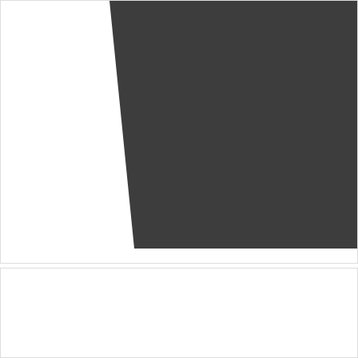[Figure (photo): Top section showing a dark grey/charcoal product (partially visible) against a white background with border]
£14.
Texet Strip Cut A4
[Figure (photo): Texet 6 Sheet A4 + Credit Card Strip Cut Shredder PS-SC1 product box, dark background with orange branding and stripe pattern on left side]